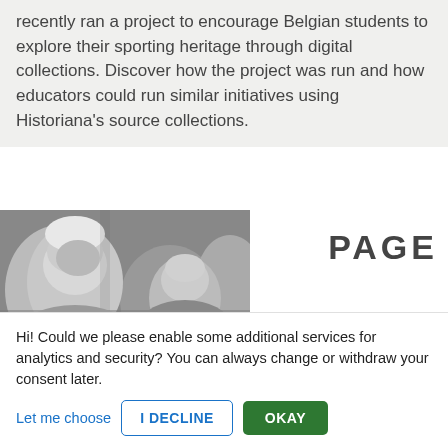recently ran a project to encourage Belgian students to explore their sporting heritage through digital collections. Discover how the project was run and how educators could run similar initiatives using Historiana's source collections.
[Figure (photo): Black and white photo of children/students in a crowd, two panels - a closer view on the left and a wider crowd view on the bottom]
PAGE
Hi! Could we please enable some additional services for analytics and security? You can always change or withdraw your consent later.
Let me choose
I DECLINE
OKAY